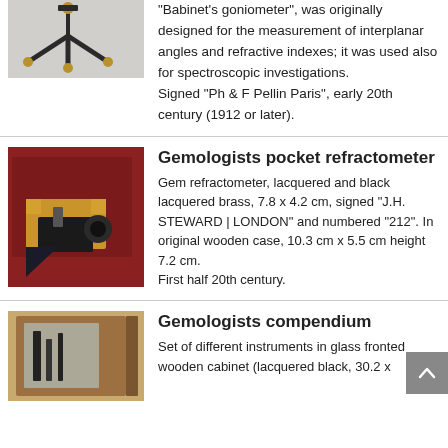[Figure (photo): Photo of a Babinet goniometer instrument with black tripod base and brass screws]
"Babinet's goniometer", was originally designed for the measurement of interplanar angles and refractive indexes; it was used also for spectroscopic investigations.
Signed "Ph & F Pellin Paris", early 20th century (1912 or later).
[Figure (photo): Photo of a gem pocket refractometer, lacquered and black lacquered brass, in original wooden case]
Gemologists pocket refractometer
Gem refractometer, lacquered and black lacquered brass, 7.8 x 4.2 cm, signed "J.H. STEWARD | LONDON" and numbered "212". In original wooden case, 10.3 cm x 5.5 cm height 7.2 cm.
First half 20th century.
[Figure (photo): Photo of a gemologists compendium wooden cabinet]
Gemologists compendium
Set of different instruments in glass fronted wooden cabinet (lacquered black, 30.2 x